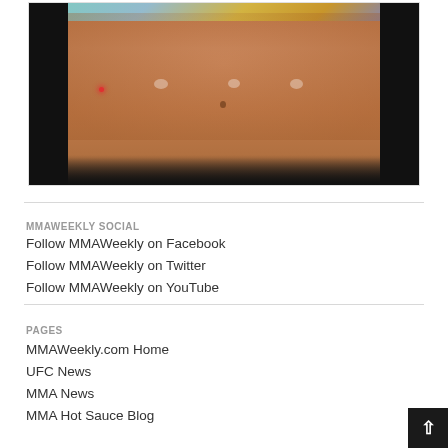[Figure (photo): Close-up photo of a female MMA fighter's midsection wearing a colorful sports top, against a dark background with a red dot light visible]
MMAWEEKLY SOCIAL
Follow MMAWeekly on Facebook
Follow MMAWeekly on Twitter
Follow MMAWeekly on YouTube
PAGES
MMAWeekly.com Home
UFC News
MMA News
MMA Hot Sauce Blog